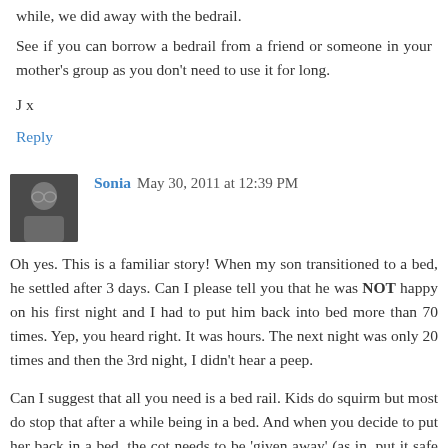while, we did away with the bedrail.
See if you can borrow a bedrail from a friend or someone in your mother's group as you don't need to use it for long.
J x
Reply
Sonia May 30, 2011 at 12:39 PM
Oh yes. This is a familiar story! When my son transitioned to a bed, he settled after 3 days. Can I please tell you that he was NOT happy on his first night and I had to put him back into bed more than 70 times. Yep, you heard right. It was hours. The next night was only 20 times and then the 3rd night, I didn't hear a peep.
Can I suggest that all you need is a bed rail. Kids do squirm but most do stop that after a while being in a bed. And when you decide to put her back in a bed, the cot needs to be 'given away' (as in, put it safe somewhere for the next arrival so she thinks it's gone forever). Because, maybe